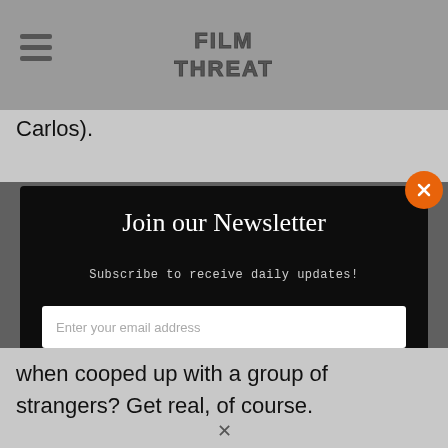[Figure (logo): Film Threat logo in header with hamburger menu icon]
Carlos).
Join our Newsletter
Subscribe to receive daily updates!
Enter your email address
SIGN UP
when cooped up with a group of strangers? Get real, of course.